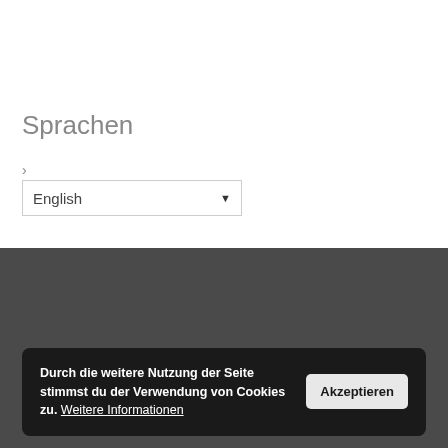Sprachen
>
English ▼
Durch die weitere Nutzung der Seite stimmst du der Verwendung von Cookies zu. Weitere Informationen  Akzeptieren